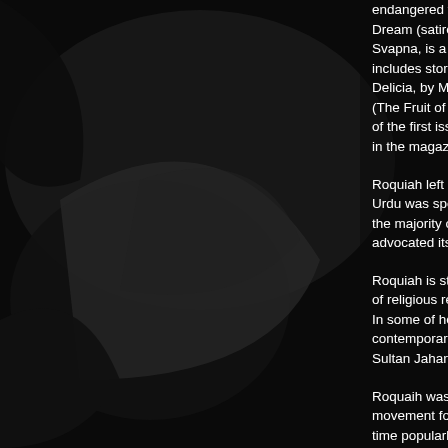endangered women's lives. Dream (satire, 1908), Padm Svapna, is a satirical piece, includes stories and fairy ta Delicia, by Mary Corelli), Jn (The Fruit of Emancipation) of the first issue of the Saog in the magazine.
Roquiah left behind innume Urdu was spoken by the ari the majority of the Muslims advocated its use at the Ba
Roquiah is still remembered of religious regulations that In some of her writings, she contemporary politics. Othe Sultan Jahan of Bhopal etc
Roquaih was always vocife movement for women's edu time popularly referred to a system and advocated won her in the movement for wo